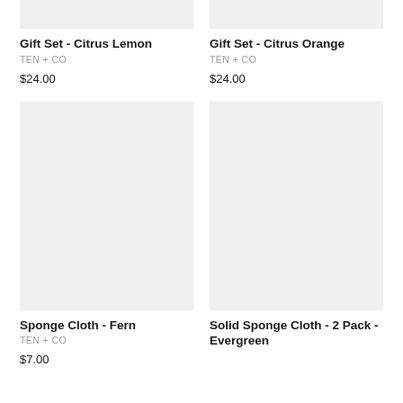[Figure (photo): Product image placeholder for Gift Set - Citrus Lemon (light gray rectangle, top cropped)]
Gift Set - Citrus Lemon
TEN + CO
$24.00
[Figure (photo): Product image placeholder for Gift Set - Citrus Orange (light gray rectangle, top cropped)]
Gift Set - Citrus Orange
TEN + CO
$24.00
[Figure (photo): Product image placeholder for Sponge Cloth - Fern (light gray rectangle, full)]
Sponge Cloth - Fern
TEN + CO
$7.00
[Figure (photo): Product image placeholder for Solid Sponge Cloth - 2 Pack - Evergreen (light gray rectangle, full)]
Solid Sponge Cloth - 2 Pack - Evergreen